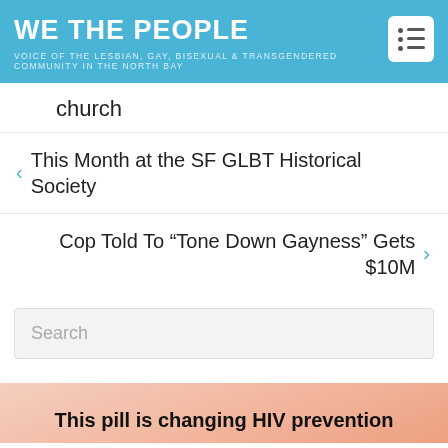WE THE PEOPLE — VOICE OF THE LESBIAN, GAY, BISEXUAL & TRANSGENDERED COMMUNITY IN THE NORTH BAY
church
< This Month at the SF GLBT Historical Society
Cop Told To “Tone Down Gayness” Gets $10M >
Search
This pill is changing HIV prevention